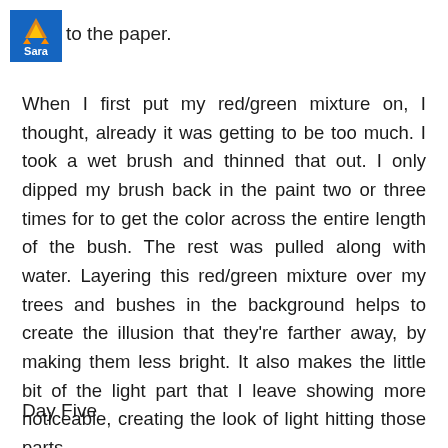to the paper.
When I first put my red/green mixture on, I thought, already it was getting to be too much. I took a wet brush and thinned that out. I only dipped my brush back in the paint two or three times for to get the color across the entire length of the bush. The rest was pulled along with water. Layering this red/green mixture over my trees and bushes in the background helps to create the illusion that they're farther away, by making them less bright. It also makes the little bit of the light part that I leave showing more noticeable, creating the look of light hitting those parts.
Day Five